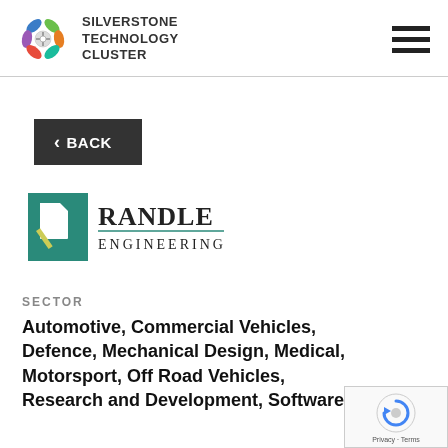SILVERSTONE TECHNOLOGY CLUSTER
< BACK
[Figure (logo): Randle Engineering company logo with teal square icon and serif text]
SECTOR
Automotive, Commercial Vehicles, Defence, Mechanical Design, Medical, Motorsport, Off Road Vehicles, Research and Development, Software